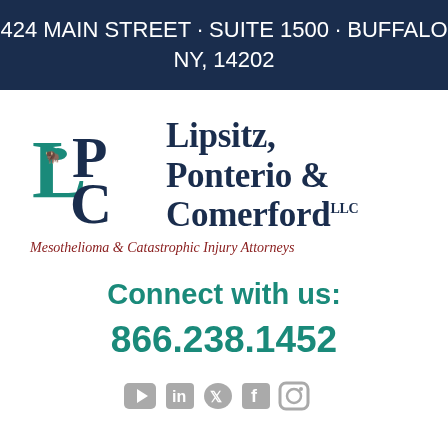424 MAIN STREET · SUITE 1500 · BUFFALO NY, 14202
[Figure (logo): Lipsitz, Ponterio & Comerford LLC law firm logo with LPC monogram in teal and firm name in dark navy, tagline: Mesothelioma & Catastrophic Injury Attorneys]
Connect with us:
866.238.1452
[Figure (illustration): Social media icons: YouTube, LinkedIn, Twitter, Facebook, Instagram in gray]